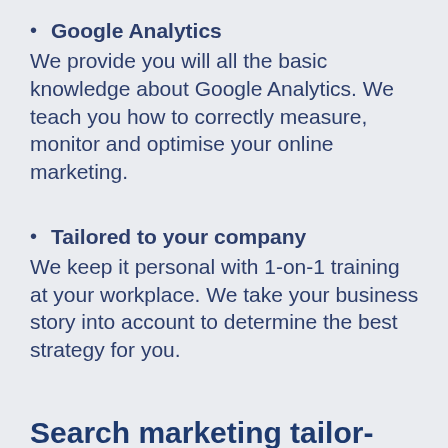Google Analytics
We provide you will all the basic knowledge about Google Analytics. We teach you how to correctly measure, monitor and optimise your online marketing.
Tailored to your company
We keep it personal with 1-on-1 training at your workplace. We take your business story into account to determine the best strategy for you.
Search marketing tailor-made training
After all, every situation, target group and business challenge is unique. This